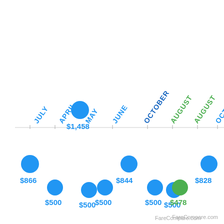[Figure (scatter-plot): Flight fare comparison by month]
FareCompare.com